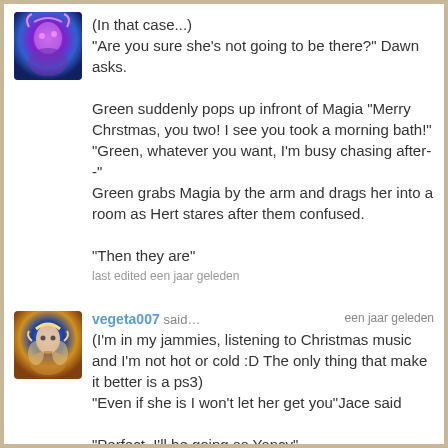[Figure (illustration): Avatar image with purple/blue fantasy character]
(In that case...)
"Are you sure she's not going to be there?" Dawn asks.

Green suddenly pops up infront of Magia "Merry Chrstmas, you two! I see you took a morning bath!"
"Green, whatever you want, I'm busy chasing after--"
Green grabs Magia by the arm and drags her into a room as Hert stares after them confused.

"Then they are"
last edited een jaar geleden
[Figure (illustration): Avatar image with anime/fantasy characters]
vegeta007 said… een jaar geleden
(I'm in my jammies, listening to Christmas music and I'm not hot or cold :D The only thing that make it better is a ps3)
"Even if she is I won't let her get you"Jace said

"Perfect, I'll be going as Yancy"
last edited een jaar geleden